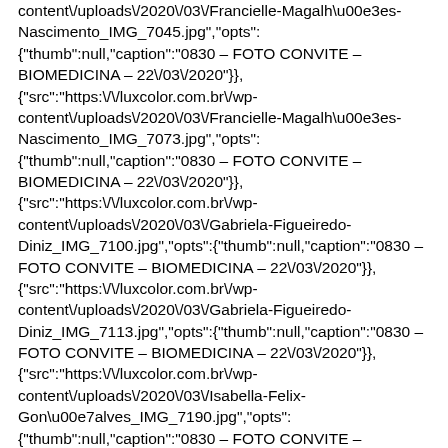content\/uploads\/2020\/03\/Francielle-Magalh\u00e3es-Nascimento_IMG_7045.jpg","opts": {"thumb":null,"caption":"0830 – FOTO CONVITE – BIOMEDICINA – 22\/03\/2020"}}, {"src":"https:\/\/luxcolor.com.br\/wp-content\/uploads\/2020\/03\/Francielle-Magalh\u00e3es-Nascimento_IMG_7073.jpg","opts": {"thumb":null,"caption":"0830 – FOTO CONVITE – BIOMEDICINA – 22\/03\/2020"}}, {"src":"https:\/\/luxcolor.com.br\/wp-content\/uploads\/2020\/03\/Gabriela-Figueiredo-Diniz_IMG_7100.jpg","opts":{"thumb":null,"caption":"0830 – FOTO CONVITE – BIOMEDICINA – 22\/03\/2020"}}, {"src":"https:\/\/luxcolor.com.br\/wp-content\/uploads\/2020\/03\/Gabriela-Figueiredo-Diniz_IMG_7113.jpg","opts":{"thumb":null,"caption":"0830 – FOTO CONVITE – BIOMEDICINA – 22\/03\/2020"}}, {"src":"https:\/\/luxcolor.com.br\/wp-content\/uploads\/2020\/03\/Isabella-Felix-Gon\u00e7alves_IMG_7190.jpg","opts": {"thumb":null,"caption":"0830 – FOTO CONVITE – BIOMEDICINA – 22\/03\/2020"}}, {"src":"https:\/\/luxcolor.com.br\/wp-content\/uploads\/2020\/03\/Isabella-Felix-Gon\u00e7alves_IMG_7210.jpg","opts": {"thumb":null,"caption":"0830 – FOTO CONVITE –